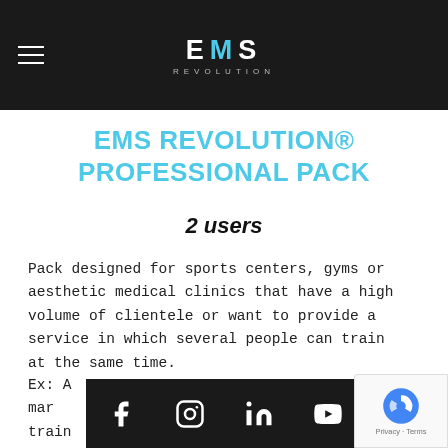EMS REVOLUTION
EMS REVOLUTION® PROFESSIONAL PACK
2 users
Pack designed for sports centers, gyms or aesthetic medical clinics that have a high volume of clientele or want to provide a service in which several people can train at the same time.
Ex: A mar... to train